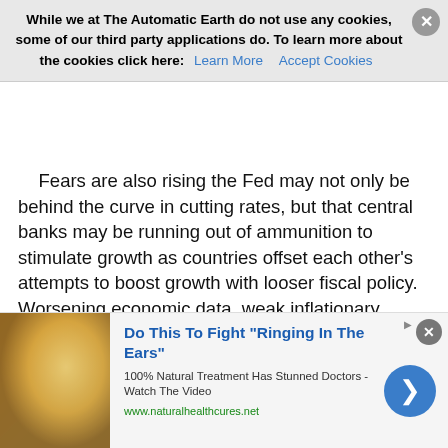economies than the U.S central bank. "The rates market early li… and globally it looks like it's expecting a day of reckoning," said To… Galoma, a managing director at Seaport Global Holdings in New Y…
While we at The Automatic Earth do not use any cookies, some of our third party applications do. To learn more about the cookies click here: Learn More   Accept Cookies
Fears are also rising the Fed may not only be behind the curve in cutting rates, but that central banks may be running out of ammunition to stimulate growth as countries offset each other's attempts to boost growth with looser fiscal policy. Worsening economic data, weak inflationary pressures, the escalating U.S.-China trade war and intensifying tensions between protesters in Hong Kong and the Chinese government have boosted demand for safe-haven debt, sending many European government bond yields deeper into negative territory while the longest-dated U.S. Treasury yields have fallen to record lows. The inversion of key parts of the Treasury yield curve, in which investors in short-term holdings get paid more than those in long-term ones, has historically been a reliable indicator of a coming recession.
[Figure (other): Advertisement banner: ear illustration with text 'Do This To Fight "Ringing In The Ears"', subtitle '100% Natural Treatment Has Stunned Doctors - Watch The Video', url 'www.naturalhealthcures.net', with blue arrow button]